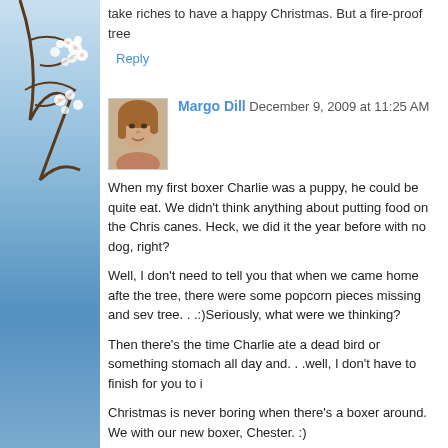take riches to have a happy Christmas. But a fire-proof tree
Reply
Margo Dill  December 9, 2009 at 11:25 AM
When my first boxer Charlie was a puppy, he could be quite eat. We didn't think anything about putting food on the Chris canes. Heck, we did it the year before with no dog, right?
Well, I don't need to tell you that when we came home afte the tree, there were some popcorn pieces missing and sev tree. . .:)Seriously, what were we thinking?
Then there's the time Charlie ate a dead bird or something stomach all day and. . .well, I don't have to finish for you to i
Christmas is never boring when there's a boxer around. We with our new boxer, Chester. :)
Margo
http://margodill.com/blog/
Reply
Tonya T. Warrington  December 9, 2009 at 12:24 PM